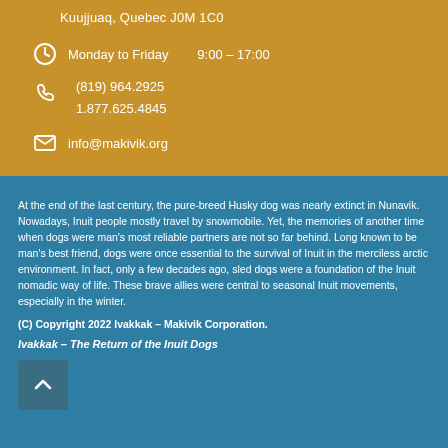Kuujjuaq, Quebec J0M 1C0
Monday to Friday    9:00 – 17:00
(819) 964.2925
1.877.625.4845
info@makivik.org
At the end of the last century, the pure-breed Husky dog was nearly extinct in Nunavik. Nowadays, Inuit people mostly travel by snowmobile. Yet, the memories of another time when dogs were man's most reliable partners are not so far behind. Long known to be man's best friend, dogs were once essential to the survival of Inuit in the merciless arctic environment. In fact, only a few decades ago, sled dogs were a foundation of the Inuit nomadic way of life. These brave allies were central to seasonal Inuit movements, especially in the winter.
(C) Copyright 2022 Ivakkak – Makivik Corporation.
Ivakkak – The Return of the Inuit Dogs